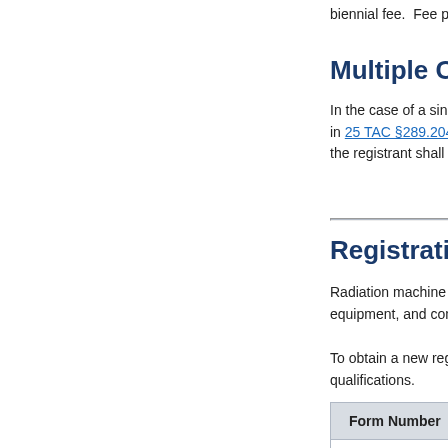biennial fee. Fee paym
Multiple Cate
In the case of a single in 25 TAC §289.204 w the registrant shall pa
Registration f
Radiation machine se equipment, and cons
To obtain a new regist qualifications.
| Form Number | F |
| --- | --- |
| RC 226-01 |  |